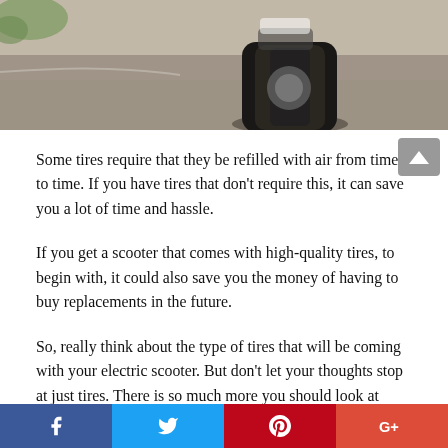[Figure (photo): Close-up photo of a motorcycle/scooter tire on a road surface, shot from a low angle. The tire is black and large, with a person's sneaker-clad foot visible in the upper background. The road is gray asphalt with some greenery visible at the upper left.]
Some tires require that they be refilled with air from time to time. If you have tires that don't require this, it can save you a lot of time and hassle.
If you get a scooter that comes with high-quality tires, to begin with, it could also save you the money of having to buy replacements in the future.
So, really think about the type of tires that will be coming with your electric scooter. But don't let your thoughts stop at just tires. There is so much more you should look at before making your final decision.